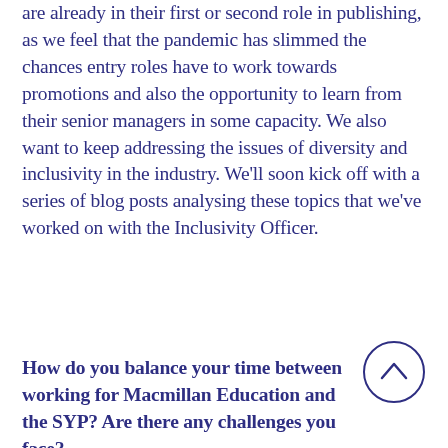are already in their first or second role in publishing, as we feel that the pandemic has slimmed the chances entry roles have to work towards promotions and also the opportunity to learn from their senior managers in some capacity. We also want to keep addressing the issues of diversity and inclusivity in the industry. We'll soon kick off with a series of blog posts analysing these topics that we've worked on with the Inclusivity Officer.
How do you balance your time between working for Macmillan Education and the SYP? Are there any challenges you face?